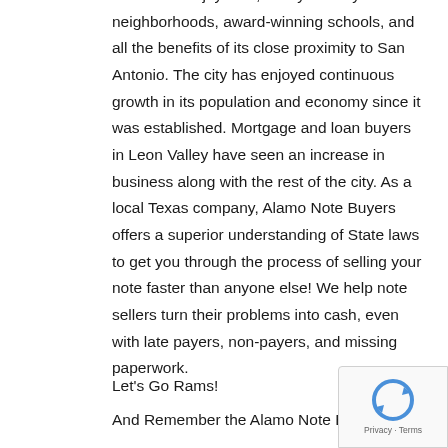Residents enjoy safe, family-friendly neighborhoods, award-winning schools, and all the benefits of its close proximity to San Antonio. The city has enjoyed continuous growth in its population and economy since it was established. Mortgage and loan buyers in Leon Valley have seen an increase in business along with the rest of the city. As a local Texas company, Alamo Note Buyers offers a superior understanding of State laws to get you through the process of selling your note faster than anyone else! We help note sellers turn their problems into cash, even with late payers, non-payers, and missing paperwork.
Let's Go Rams!
And Remember the Alamo Note Buyers!